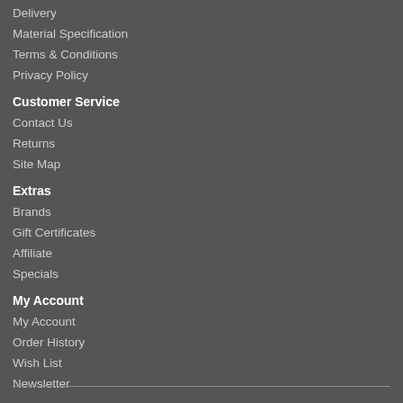Delivery
Material Specification
Terms & Conditions
Privacy Policy
Customer Service
Contact Us
Returns
Site Map
Extras
Brands
Gift Certificates
Affiliate
Specials
My Account
My Account
Order History
Wish List
Newsletter